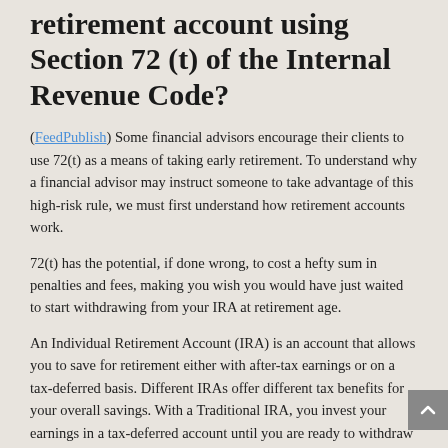retirement account using Section 72 (t) of the Internal Revenue Code?
(FeedPublish) Some financial advisors encourage their clients to use 72(t) as a means of taking early retirement.  To understand why a financial advisor may instruct someone to take advantage of this high-risk rule, we must first understand how retirement accounts work.
72(t) has the potential, if done wrong, to cost a hefty sum in penalties and fees, making you wish you would have just waited to start withdrawing from your IRA at retirement age.
An Individual Retirement Account (IRA) is an account that allows you to save for retirement either with after-tax earnings or on a tax-deferred basis. Different IRAs offer different tax benefits for your overall savings.  With a Traditional IRA, you invest your earnings in a tax-deferred account until you are ready to withdraw them in retirement
On the other hand, a Roth IRA allows you to invest the